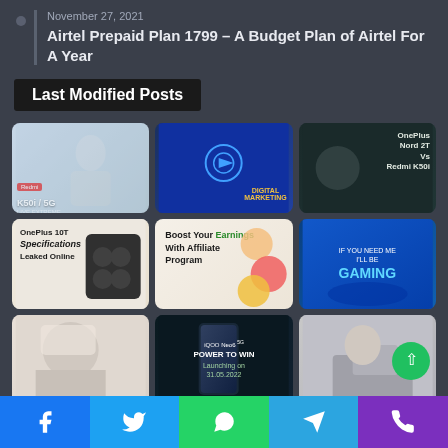November 27, 2021
Airtel Prepaid Plan 1799 – A Budget Plan of Airtel For A Year
Last Modified Posts
[Figure (photo): Redmi K50i 5G phone product thumbnail with a person in winter gear]
[Figure (photo): Digital Marketing related thumbnail with blue background and icons]
[Figure (photo): OnePlus Nord 2T Vs Redmi K50i comparison thumbnail with dark background]
[Figure (photo): OnePlus 10T Specifications Leaked Online thumbnail with beige background]
[Figure (photo): Boost Your Earnings With Affiliate Program thumbnail with light background]
[Figure (photo): Gaming themed thumbnail with blue background saying IF YOU NEED ME ILL BE GAMING]
[Figure (photo): Woman with towel on head skincare photo thumbnail]
[Figure (photo): iQOO Neo 6 5G Power To Win Launching on 31.05.2022 thumbnail with dark background]
[Figure (photo): Person holding mobile phone close-up photo thumbnail]